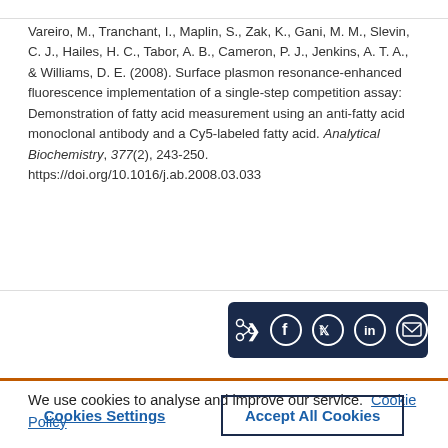Vareiro, M., Tranchant, I., Maplin, S., Zak, K., Gani, M. M., Slevin, C. J., Hailes, H. C., Tabor, A. B., Cameron, P. J., Jenkins, A. T. A., & Williams, D. E. (2008). Surface plasmon resonance-enhanced fluorescence implementation of a single-step competition assay: Demonstration of fatty acid measurement using an anti-fatty acid monoclonal antibody and a Cy5-labeled fatty acid. Analytical Biochemistry, 377(2), 243-250. https://doi.org/10.1016/j.ab.2008.03.033
[Figure (other): Social share bar with icons for share, Facebook, Twitter, LinkedIn, and email on dark navy background]
We use cookies to analyse and improve our service. Cookie Policy
Cookies Settings
Accept All Cookies